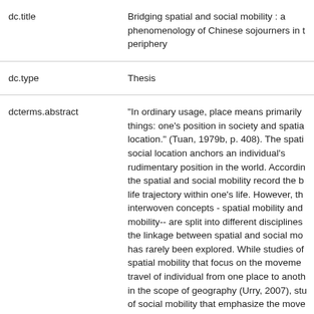|  |  |
| --- | --- |
| dc.title | Bridging spatial and social mobility : a phenomenology of Chinese sojourners in the periphery |
| dc.type | Thesis |
| dcterms.abstract | "In ordinary usage, place means primarily two things: one's position in society and spatial location." (Tuan, 1979b, p. 408). The spatial and social location anchors an individual's rudimentary position in the world. According to this, the spatial and social mobility record the basic life trajectory within one's life. However, these two interwoven concepts - spatial mobility and social mobility-- are split into different disciplines and the linkage between spatial and social mobility has rarely been explored. While studies of spatial mobility that focus on the movement or travel of individual from one place to another in the scope of geography (Urry, 2007), studies of social mobility that emphasize the movement of individuals, families, or groups through a system of social hierarchy or stratification... |